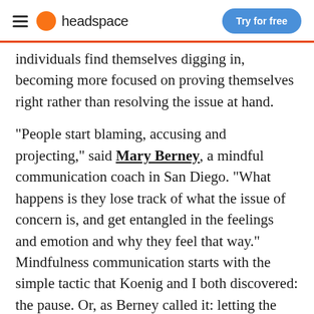headspace | Try for free
individuals find themselves digging in, becoming more focused on proving themselves right rather than resolving the issue at hand.
“People start blaming, accusing and projecting,” said Mary Berney, a mindful communication coach in San Diego. “What happens is they lose track of what the issue of concern is, and get entangled in the feelings and emotion and why they feel that way.” Mindfulness communication starts with the simple tactic that Koenig and I both discovered: the pause. Or, as Berney called it: letting the tornado settle. “The thing about mindfulness is you don’t open your mouth until you know what it is that you want to say. Mindful